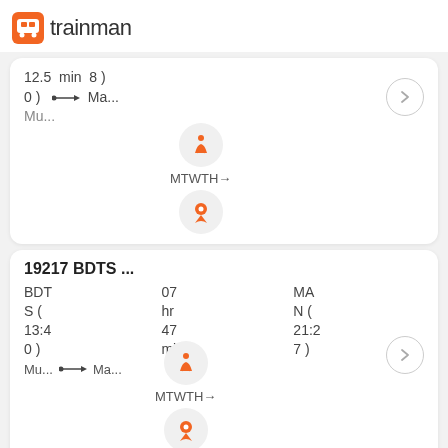trainman
12.5 min 8 )
0 ) •—• Ma...
Mu...
MTWTH→
19217 BDTS ...
BDT 07 MA
S ( hr N (
13:4 47 21:2
0 ) min 7 )
Mu... •—• Ma...
MTWTH→